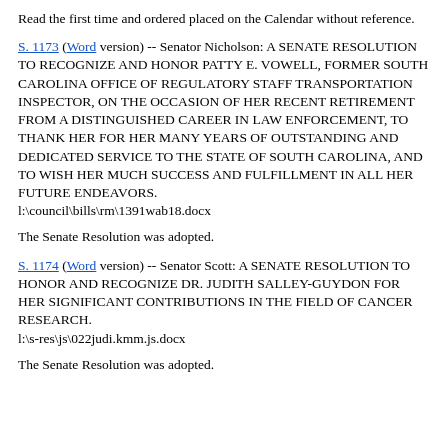Read the first time and ordered placed on the Calendar without reference.
S. 1173 (Word version) -- Senator Nicholson: A SENATE RESOLUTION TO RECOGNIZE AND HONOR PATTY E. VOWELL, FORMER SOUTH CAROLINA OFFICE OF REGULATORY STAFF TRANSPORTATION INSPECTOR, ON THE OCCASION OF HER RECENT RETIREMENT FROM A DISTINGUISHED CAREER IN LAW ENFORCEMENT, TO THANK HER FOR HER MANY YEARS OF OUTSTANDING AND DEDICATED SERVICE TO THE STATE OF SOUTH CAROLINA, AND TO WISH HER MUCH SUCCESS AND FULFILLMENT IN ALL HER FUTURE ENDEAVORS.
l:\council\bills\rm\1391wab18.docx
The Senate Resolution was adopted.
S. 1174 (Word version) -- Senator Scott: A SENATE RESOLUTION TO HONOR AND RECOGNIZE DR. JUDITH SALLEY-GUYDON FOR HER SIGNIFICANT CONTRIBUTIONS IN THE FIELD OF CANCER RESEARCH.
l:\s-res\js\022judi.kmm.js.docx
The Senate Resolution was adopted.